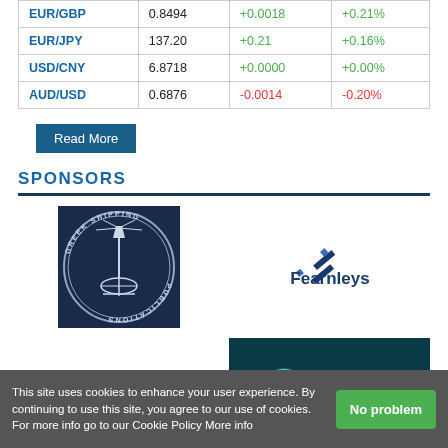| Pair | Rate | Change | %Change |
| --- | --- | --- | --- |
| EUR/GBP | 0.8494 | +0.0018 | +0.21% |
| EUR/JPY | 137.20 | +0.21 | +0.16% |
| USD/CNY | 6.8718 | +0.0000 | +0.00% |
| AUD/USD | 0.6876 | -0.0014 | -0.20% |
Read More
SPONSORS
[Figure (logo): Greek Shipping Publications circular logo with lighthouse and anchor, dark navy background]
[Figure (logo): Fearnleys logo with satellite icon and bold blue text]
[Figure (logo): Gibson Shipbrokers logo with large bold text and red bar]
[Figure (logo): Onboard Connectivity Summit logo with teal circular design on dark background]
This site uses cookies to enhance your user experience. By continuing to use this site, you agree to our use of cookies. For more info go to our Cookie Policy More info